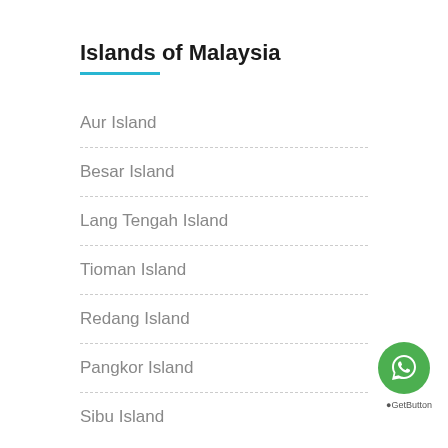Islands of Malaysia
Aur Island
Besar Island
Lang Tengah Island
Tioman Island
Redang Island
Pangkor Island
Sibu Island